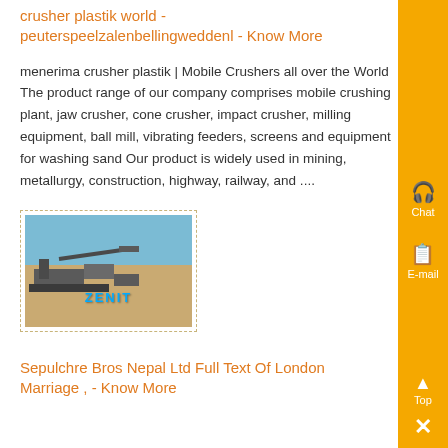crusher plastik world - peuterspeelzalenbellingweddenl - Know More
menerima crusher plastik | Mobile Crushers all over the World The product range of our company comprises mobile crushing plant, jaw crusher, cone crusher, impact crusher, milling equipment, ball mill, vibrating feeders, screens and equipment for washing sand Our product is widely used in mining, metallurgy, construction, highway, railway, and ....
[Figure (photo): Photo of an industrial crushing/mining site with machinery in the foreground, sandy terrain, and blue sky. A watermark reading 'ZENIT' appears in blue text.]
Sepulchre Bros Nepal Ltd Full Text Of London Marriage , - Know More